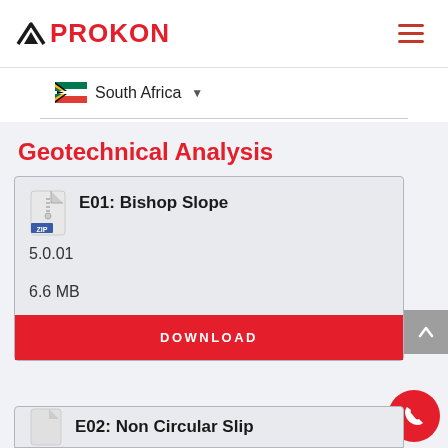[Figure (logo): Prokon logo with red arch/chevron icon and red bold text PROKON]
South Africa (dropdown selector with flag)
Geotechnical Analysis
E01: Bishop Slope
5.0.01
6.6 MB
DOWNLOAD
E02: Non Circular Slip